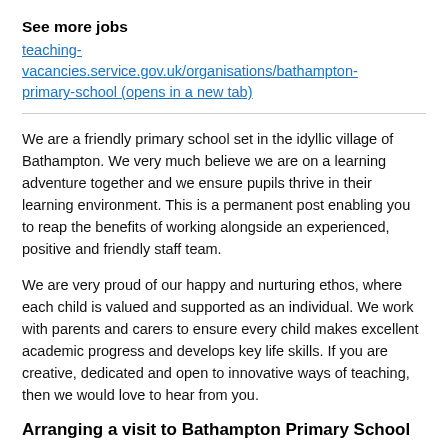See more jobs
teaching-vacancies.service.gov.uk/organisations/bathampton-primary-school (opens in a new tab)
We are a friendly primary school set in the idyllic village of Bathampton. We very much believe we are on a learning adventure together and we ensure pupils thrive in their learning environment. This is a permanent post enabling you to reap the benefits of working alongside an experienced, positive and friendly staff team.
We are very proud of our happy and nurturing ethos, where each child is valued and supported as an individual.  We work with parents and carers to ensure every child makes excellent academic progress and develops key life skills. If you are creative, dedicated and open to innovative ways of teaching, then we would love to hear from you.
Arranging a visit to Bathampton Primary School
Candidates are invited to...